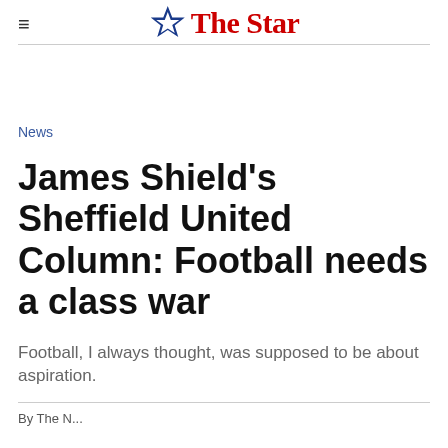The Star
News
James Shield's Sheffield United Column: Football needs a class war
Football, I always thought, was supposed to be about aspiration.